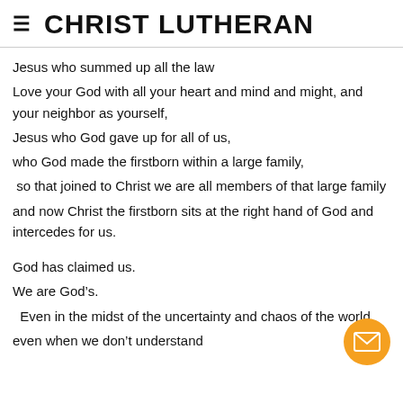CHRIST LUTHERAN
Jesus who summed up all the law
Love your God with all your heart and mind and might, and your neighbor as yourself,
Jesus who God gave up for all of us,
who God made the firstborn within a large family,
 so that joined to Christ we are all members of that large family
and now Christ the firstborn sits at the right hand of God and intercedes for us.

God has claimed us.
We are God’s.
  Even in the midst of the uncertainty and chaos of the world,
even when we don’t understand